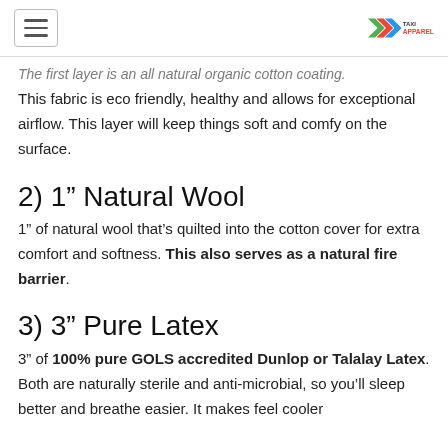The first layer is an all natural organic cotton coating. This fabric is eco friendly, healthy and allows for exceptional airflow. This layer will keep things soft and comfy on the surface.
2) 1” Natural Wool
1” of natural wool that’s quilted into the cotton cover for extra comfort and softness. This also serves as a natural fire barrier.
3) 3” Pure Latex
3” of 100% pure GOLS accredited Dunlop or Talalay Latex. Both are naturally sterile and anti-microbial, so you’ll sleep better and breathe easier. It makes feel cooler